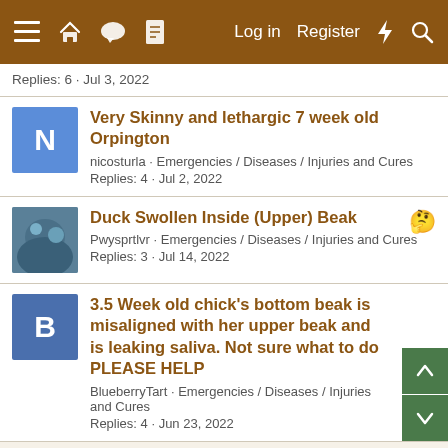≡ 🏠 💬 📄   Log in   Register  ⚡ 🔍
Replies: 6 · Jul 3, 2022
Very Skinny and lethargic 7 week old Orpington
nicosturla · Emergencies / Diseases / Injuries and Cures
Replies: 4 · Jul 2, 2022
Duck Swollen Inside (Upper) Beak
Pwysprtlvr · Emergencies / Diseases / Injuries and Cures
Replies: 3 · Jul 14, 2022
3.5 Week old chick's bottom beak is misaligned with her upper beak and is leaking saliva. Not sure what to do PLEASE HELP
BlueberryTart · Emergencies / Diseases / Injuries and Cures
Replies: 4 · Jun 23, 2022
Cracked Beak
tabs_flock · Emergencies / Diseases / Injuries and Cures
Replies: 4 · Jun 10, 2022